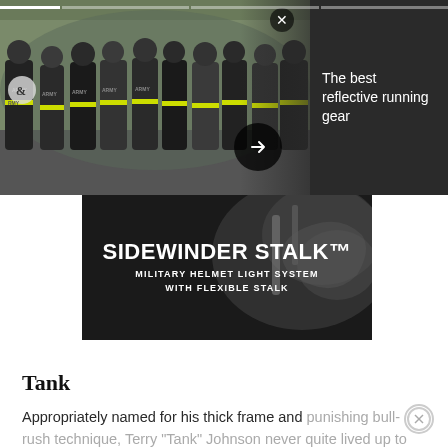[Figure (photo): Photo of U.S. Army soldiers in PT gear running in formation, wearing ARMY t-shirts with yellow reflective belts, overlaid with a dark panel on the right side.]
The best reflective running gear
[Figure (photo): Advertisement banner for Sidewinder Stalk Military Helmet Light System with flexible stalk, dark background with close-up gear image.]
Tank
Appropriately named for his thick frame and punishing bull-rush technique, Terry “Tank” Johnson never quite lived up to his hype as a brick...